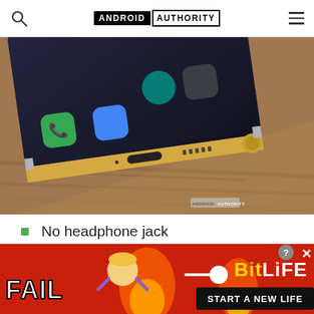ANDROID AUTHORITY
[Figure (photo): Close-up photo of a Samsung Galaxy Note smartphone showing the bottom edge with USB-C port, speaker grille, and home button, resting on a wooden surface. The screen shows app icons.]
No headphone jack
Stereo speakers
[Figure (other): Advertisement banner for BitLife mobile game with red background showing 'FAIL' text, cartoon character, flames, and 'START A NEW LIFE' tagline]